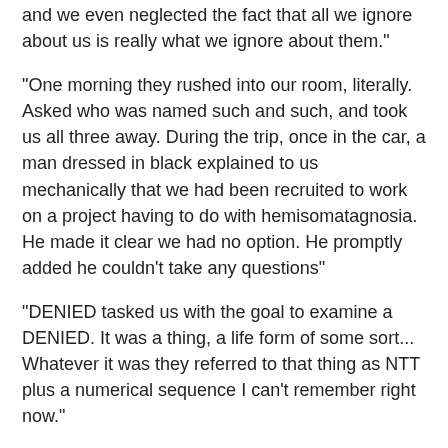and we even neglected the fact that all we ignore about us is really what we ignore about them."
"One morning they rushed into our room, literally. Asked who was named such and such, and took us all three away. During the trip, once in the car, a man dressed in black explained to us mechanically that we had been recruited to work on a project having to do with hemisomatagnosia. He made it clear we had no option. He promptly added he couldn't take any questions"
"DENIED tasked us with the goal to examine a DENIED. It was a thing, a life form of some sort... Whatever it was they referred to that thing as NTT plus a numerical sequence I can't remember right now."
"Human subjectivity is embodied subjectivity, because it always unfolds against the background of a stable bodily model of the self. As humans, our highest and most abstract cognitive operations are only characterized by a sequential, temporal “orderedness.” We human beings only represent